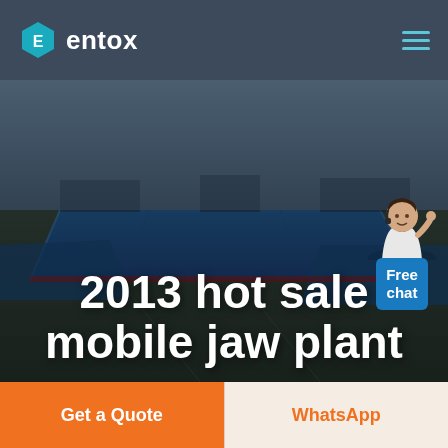[Figure (logo): Entox company logo with teal hexagon icon and white text 'entox' on dark blue-gray header]
[Figure (photo): Aerial view of large industrial facility with blue-roofed warehouse buildings, overlaid with bold white headline text '2013 hot sale mobile jaw plant']
[Figure (illustration): Customer service chat widget showing a person in white and a blue 'Free chat' button in the top right of the hero image]
Get a Quote
WhatsApp